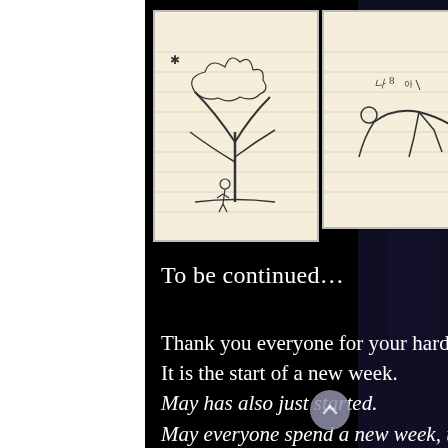[Figure (illustration): Three children's hand-drawn sketches on lined paper. First drawing shows a figure near a tree with branches. Second drawing shows stick figures or animals. Third drawing shows stick figures standing, possibly at a table or chairs, with handwritten text below.]
To be continued…
Thank you everyone for your hard work this week.
It is the start of a new week.
May has also just started.
May everyone spend a new week, under a new moon, filled with never changing kindness and gentleness
May each day and hour of the week be